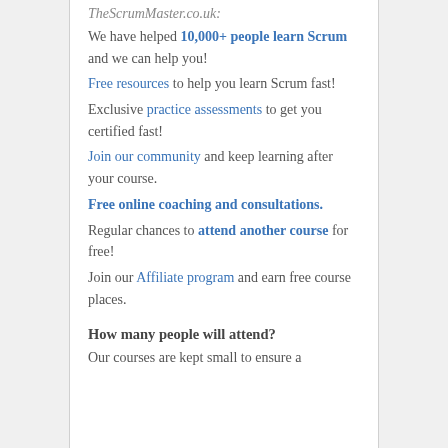TheScrumMaster.co.uk:
We have helped 10,000+ people learn Scrum and we can help you!
Free resources to help you learn Scrum fast!
Exclusive practice assessments to get you certified fast!
Join our community and keep learning after your course.
Free online coaching and consultations.
Regular chances to attend another course for free!
Join our Affiliate program and earn free course places.
How many people will attend?
Our courses are kept small to ensure a